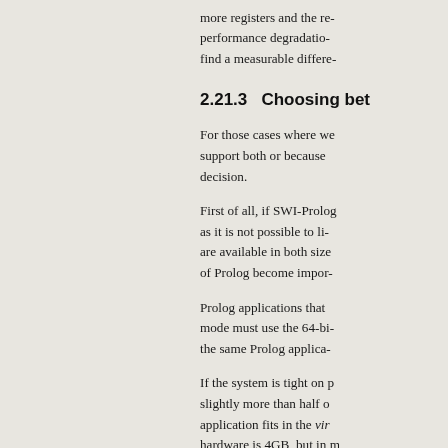more registers and the re- performance degradation find a measurable differe-
2.21.3   Choosing bet
For those cases where we support both or because decision.
First of all, if SWI-Prolog as it is not possible to li- are available in both size of Prolog become impor-
Prolog applications that mode must use the 64-bi- the same Prolog applica-
If the system is tight on p slightly more than half o application fits in the vir- hardware is 4GB, but in m